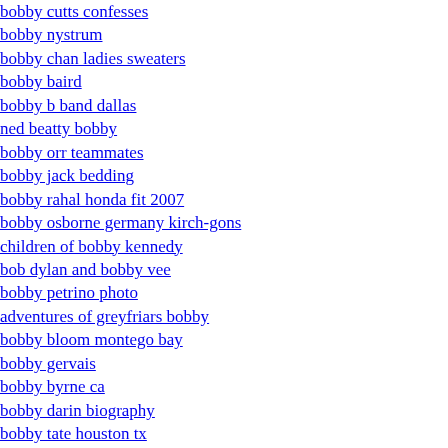bobby cutts confesses
bobby nystrum
bobby chan ladies sweaters
bobby baird
bobby b band dallas
ned beatty bobby
bobby orr teammates
bobby jack bedding
bobby rahal honda fit 2007
bobby osborne germany kirch-gons
children of bobby kennedy
bob dylan and bobby vee
bobby petrino photo
adventures of greyfriars bobby
bobby bloom montego bay
bobby gervais
bobby byrne ca
bobby darin biography
bobby tate houston tx
bobby v
bobby sheehan nhl
bobby kirtlan
bobby bold eagle
rickie bobby
bobby uncer